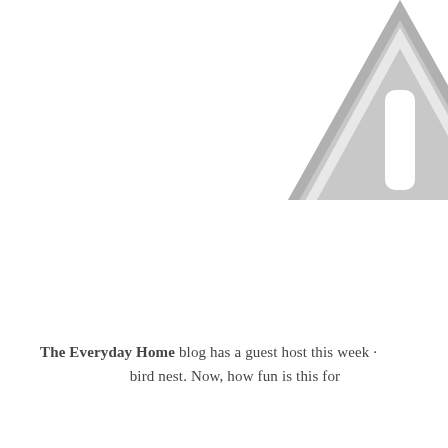[Figure (illustration): A large grey warning/caution triangle sign with an exclamation mark, partially cropped at the top-right corner of the page.]
The Everyday Home blog has a guest host this week · bird nest. Now, how fun is this for